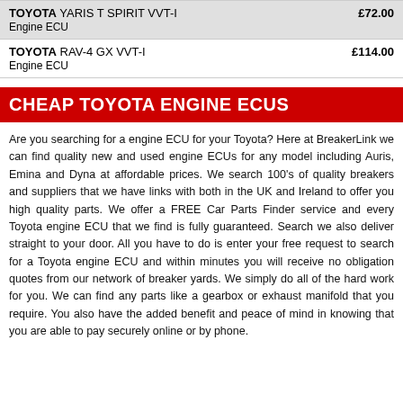| Model | Price |
| --- | --- |
| TOYOTA YARIS T SPIRIT VVT-I
Engine ECU | £72.00 |
| TOYOTA RAV-4 GX VVT-I
Engine ECU | £114.00 |
CHEAP TOYOTA ENGINE ECUS
Are you searching for a engine ECU for your Toyota? Here at BreakerLink we can find quality new and used engine ECUs for any model including Auris, Emina and Dyna at affordable prices. We search 100's of quality breakers and suppliers that we have links with both in the UK and Ireland to offer you high quality parts. We offer a FREE Car Parts Finder service and every Toyota engine ECU that we find is fully guaranteed. Search we also deliver straight to your door. All you have to do is enter your free request to search for a Toyota engine ECU and within minutes you will receive no obligation quotes from our network of breaker yards. We simply do all of the hard work for you. We can find any parts like a gearbox or exhaust manifold that you require. You also have the added benefit and peace of mind in knowing that you are able to pay securely online or by phone.